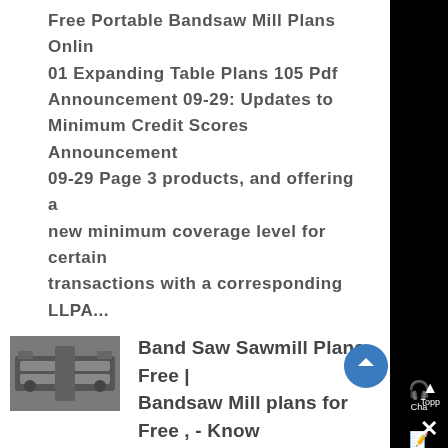Free Portable Bandsaw Mill Plans Online 01 Expanding Table Plans 105 Pdf Announcement 09-29: Updates to Minimum Credit Scores Announcement 09-29 Page 3 products, and offering a new minimum coverage level for certain transactions with a corresponding LLPA...
[Figure (photo): Thumbnail image of a bandsaw mill machine, gray industrial equipment]
Band Saw Sawmill Plans Free | Bandsaw Mill plans for Free , - Know More
"Free Bandsaw Mill Plans Unique 9 Free Band Saw Plans Build Your Own Band